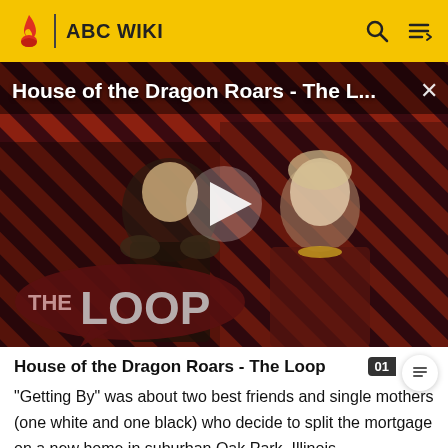ABC WIKI
[Figure (screenshot): Video thumbnail for 'House of the Dragon Roars - The L...' showing two characters from House of the Dragon against a diagonal red and black stripe background with 'THE LOOP' logo in bottom left and a play button in the center]
House of the Dragon Roars - The Loop
"Getting By" was about two best friends and single mothers (one white and one black) who decide to split the mortgage on a new home in suburban Oak Park, Illinois